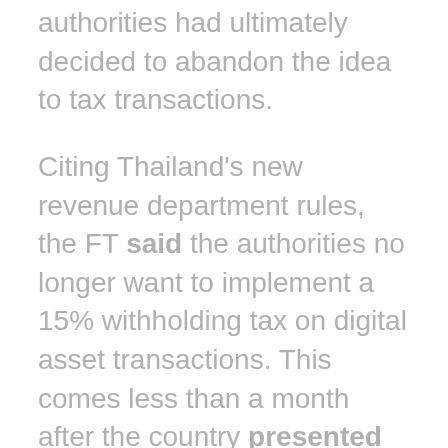authorities had ultimately decided to abandon the idea to tax transactions.
Citing Thailand's new revenue department rules, the FT said the authorities no longer want to implement a 15% withholding tax on digital asset transactions. This comes less than a month after the country presented its latest idea to tax all cryptocurrency endeavors starting from this year. However, the move faced enhanced backlash from local digital asset businesses and